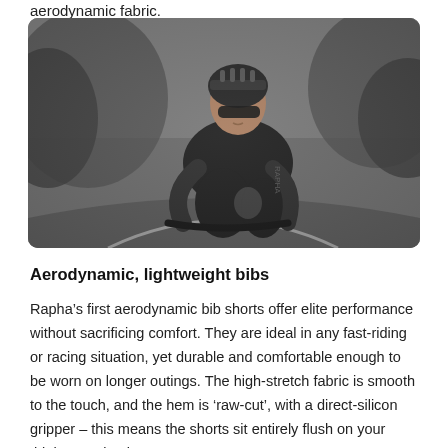aerodynamic fabric.
[Figure (photo): Black and white photograph of a male cyclist in aerodynamic kit (helmet, sunglasses, bib shorts and jersey) riding aggressively on a road, leaning forward over handlebars, with trees and road visible in background.]
Aerodynamic, lightweight bibs
Rapha’s first aerodynamic bib shorts offer elite performance without sacrificing comfort. They are ideal in any fast-riding or racing situation, yet durable and comfortable enough to be worn on longer outings. The high-stretch fabric is smooth to the touch, and the hem is ‘raw-cut’, with a direct-silicon gripper – this means the shorts sit entirely flush on your thighs, staying in position…